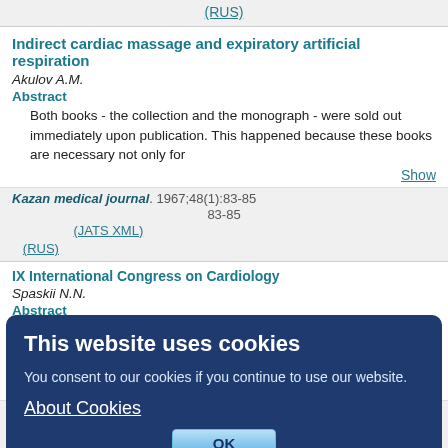(RUS)
Indirect cardiac massage and expiratory artificial respiration
Akulov A.M.
Abstract
Both books - the collection and the monograph - were sold out immediately upon publication. This happened because these books are necessary not only for
Show
Kazan medical journal. 1967;48(1):83-85
83-85
(JATS XML)
(RUS)
IX International Congress on Cardiology
Spaskii N.N.
Abstract
The congress was attended by about 5,000 representatives from 48 countries. The plenary sessions were dedicated only to the opening and
Show
Kazan medical journal. 1967;48(1):86-89
[Figure (screenshot): Cookie consent modal dialog overlay on a medical journal website. The modal has a dark navy blue background with white text reading 'This website uses cookies', explanatory text, an 'About Cookies' link, and an OK button.]